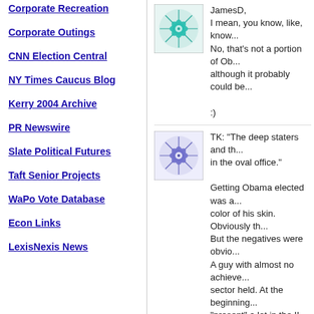Corporate Recreation
Corporate Outings
CNN Election Central
NY Times Caucus Blog
Kerry 2004 Archive
PR Newswire
Slate Political Futures
Taft Senior Projects
WaPo Vote Database
Econ Links
LexisNexis News
Amazon Top 100
[Figure (illustration): Teal/green decorative snowflake/mandala avatar icon]
JamesD,
I mean, you know, like, know...
No, that's not a portion of Ob...
although it probably could be...

:)
[Figure (illustration): Purple/blue decorative snowflake/mandala avatar icon]
TK: "The deep staters and th... in the oval office."

Getting Obama elected was a... color of his skin. Obviously th... But the negatives were obvio... A guy with almost no achieve... sector held. At the beginning... "present" a lot in the IL legisla... All that AND they had to shou... had a strong support base in...

Has a book been written to m...